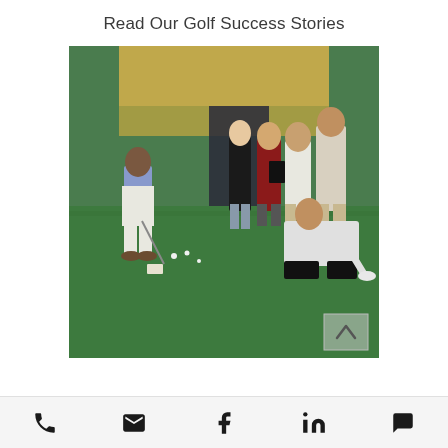Read Our Golf Success Stories
[Figure (photo): Indoor golf putting green with six people: one man in blue vest and white pants is putting, five others stand watching including a woman in black, a man in red shirt holding a clipboard, a man in white shirt, a man in beige pants, and a man crouching down placing a target on the green. Background shows a painted outdoor scene.]
Phone | Email | Facebook | LinkedIn | Chat icons